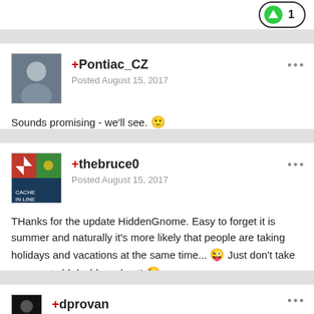[Figure (other): Upvote button with green arrow icon and count of 1]
[Figure (photo): Avatar photo of Pontiac_CZ user]
+Pontiac_CZ
Posted August 15, 2017
Sounds promising - we'll see. 🙂
[Figure (photo): Avatar photo of thebruce0 user with Cache in the Line logo]
+thebruce0
Posted August 15, 2017
THanks for the update HiddenGnome. Easy to forget it is summer and naturally it's more likely that people are taking holidays and vacations at the same time... 😜  Just don't take away out old dashboard yet! 😉
[Figure (photo): Avatar photo of dprovan user]
+dprovan